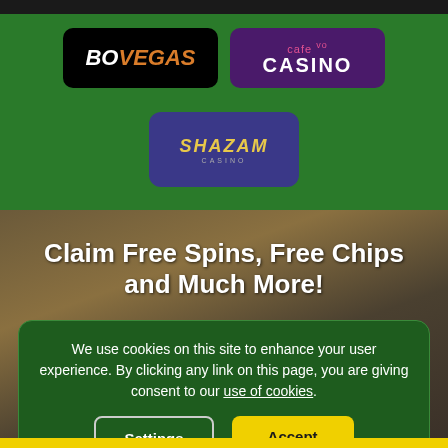[Figure (logo): BoVegas casino logo - black background with white and orange italic text]
[Figure (logo): Cafe Casino logo - purple background with pink 'cafe' text and white 'CASINO' text]
[Figure (logo): Shazam Casino logo - dark blue/purple background with gold italic SHAZAM text]
Claim Free Spins, Free Chips and Much More!
Sign up to our newsletter to take advantage of our
We use cookies on this site to enhance your user experience. By clicking any link on this page, you are giving consent to our use of cookies.
Settings
Accept